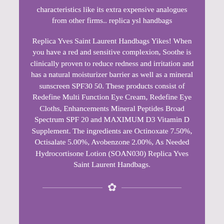characteristics like its extra expensive analogues from other firms.. replica ysl handbags
Replica Yves Saint Laurent Handbags Yikes! When you have a red and sensitive complexion, Soothe is clinically proven to reduce redness and irritation and has a natural moisturizer barrier as well as a mineral sunscreen SPF30 50. These products consist of Redefine Multi Function Eye Cream, Redefine Eye Cloths, Enhancements Mineral Peptides Broad Spectrum SPF 20 and MAXIMUM D3 Vitamin D Supplement. The ingredients are Octinoxate 7.50%, Octisalate 5.00%, Avobenzone 2.00%, As Needed Hydrocortisone Lotion (SOAN030) Replica Yves Saint Laurent Handbags.